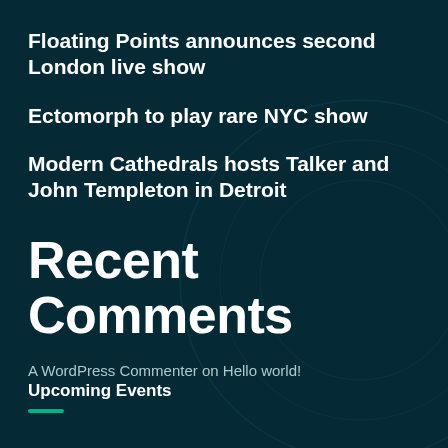Floating Points announces second London live show
Ectomorph to play rare NYC show
Modern Cathedrals hosts Talker and John Templeton in Detroit
Recent Comments
A WordPress Commenter on Hello world!
Upcoming Events